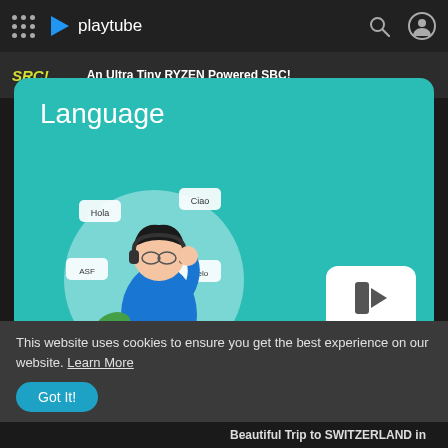playtube
An Ultra Tiny RYZEN Powered SBC!
Language
[Figure (illustration): Illustration of a person wearing headphones with speech bubbles in different languages (Hola, Ciao, Helo, etc.) next to a Themes button]
English
Arabic
This website uses cookies to ensure you get the best experience on our website. Learn More
Got It!
Beautiful Trip to SWITZERLAND in